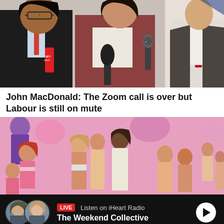[Figure (photo): Press conference photo showing three people with microphones, a woman in a dark red/burgundy suit speaking at center, a man in glasses on the left, and a man in a suit with red tie on the right.]
John MacDonald: The Zoom call is over but Labour is still on mute
[Figure (photo): Collection of various Barbie and other dolls piled together, showing diverse dolls of different skin tones and styles.]
LIVE  Listen on iHeart Radio
The Weekend Collective
Home   Shows   Podcasts   News   Menu